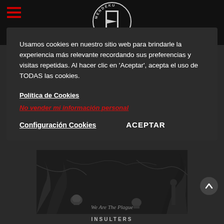[Figure (logo): Mendeku logo — circular emblem with guillotine illustration in black and white]
Usamos cookies en nuestro sitio web para brindarle la experiencia más relevante recordando sus preferencias y visitas repetidas. Al hacer clic en 'Aceptar', acepta el uso de TODAS las cookies.
Política de Cookies
No vender mi información personal
Configuración Cookies
ACEPTAR
[Figure (illustration): Black and white dark fantasy album artwork with trees, skulls and figures. Text reads 'We Are The Plague']
INSULTERS